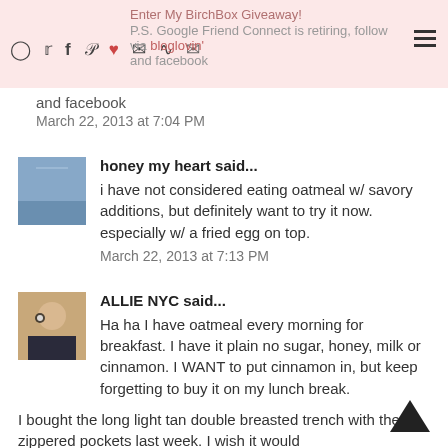Enter My BirchBox Giveaway!
P.S. Google Friend Connect is retiring, follow via bloglovin' and facebook
and facebook
March 22, 2013 at 7:04 PM
honey my heart said...
i have not considered eating oatmeal w/ savory additions, but definitely want to try it now. especially w/ a fried egg on top.
March 22, 2013 at 7:13 PM
ALLIE NYC said...
Ha ha I have oatmeal every morning for breakfast. I have it plain no sugar, honey, milk or cinnamon. I WANT to put cinnamon in, but keep forgetting to buy it on my lunch break.
I bought the long light tan double breasted trench with the zippered pockets last week. I wish it would